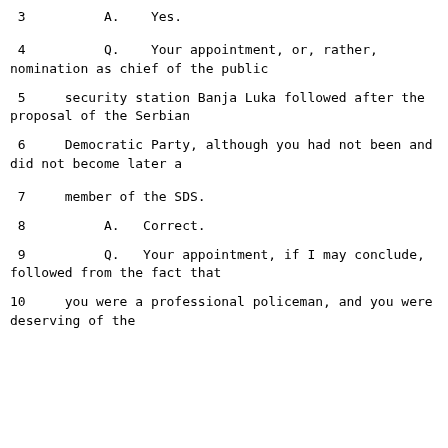3          A.    Yes.
4          Q.    Your appointment, or, rather, nomination as chief of the public
5     security station Banja Luka followed after the proposal of the Serbian
6     Democratic Party, although you had not been and did not become later a
7     member of the SDS.
8          A.   Correct.
9          Q.   Your appointment, if I may conclude, followed from the fact that
10     you were a professional policeman, and you were deserving of the